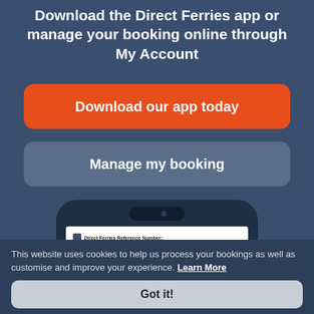Download the Direct Ferries app or manage your booking online through My Account
Download our app today
Manage my booking
[Figure (screenshot): A smartphone mockup showing a Direct Ferries app screen with a card displaying 'Direct Ferries Reference Number:']
This website uses cookies to help us process your bookings as well as customise and improve your experience. Learn More
Got it!